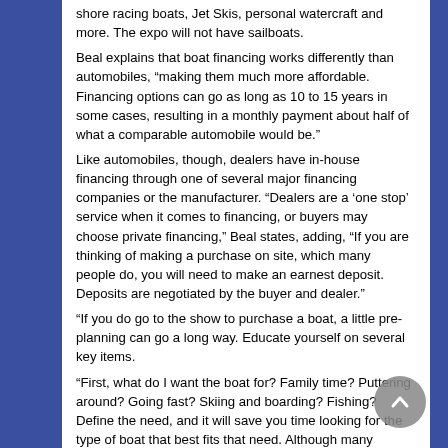shore racing boats, Jet Skis, personal watercraft and more. The expo will not have sailboats.
Beal explains that boat financing works differently than automobiles, “making them much more affordable. Financing options can go as long as 10 to 15 years in some cases, resulting in a monthly payment about half of what a comparable automobile would be.”
Like automobiles, though, dealers have in-house financing through one of several major financing companies or the manufacturer. “Dealers are a ‘one stop’ service when it comes to financing, or buyers may choose private financing,” Beal states, adding, “If you are thinking of making a purchase on site, which many people do, you will need to make an earnest deposit. Deposits are negotiated by the buyer and dealer.”
“If you do go to the show to purchase a boat, a little pre-planning can go a long way. Educate yourself on several key items.
“First, what do I want the boat for? Family time? Puttering around? Going fast? Skiing and boarding? Fishing? Define the need, and it will save you time looking for the type of boat that best fits that need. Although many dealers carry several classifications of boats, some specialize in one type of boat